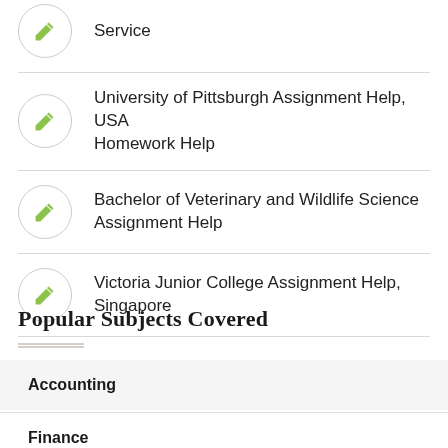Service
University of Pittsburgh Assignment Help, USA Homework Help
Bachelor of Veterinary and Wildlife Science Assignment Help
Victoria Junior College Assignment Help, Singapore
Popular Subjects Covered
Accounting
Finance